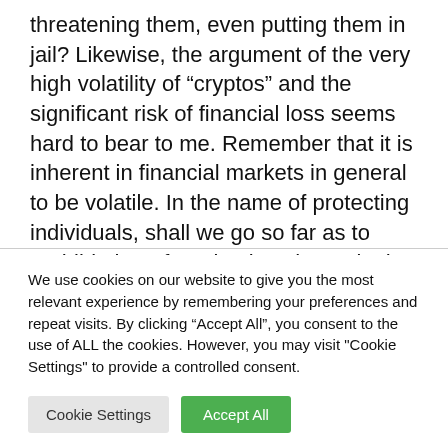threatening them, even putting them in jail? Likewise, the argument of the very high volatility of “cryptos” and the significant risk of financial loss seems hard to bear to me. Remember that it is inherent in financial markets in general to be volatile. In the name of protecting individuals, shall we go so far as to prohibit them from buying shares in the stock market?
We use cookies on our website to give you the most relevant experience by remembering your preferences and repeat visits. By clicking “Accept All”, you consent to the use of ALL the cookies. However, you may visit "Cookie Settings" to provide a controlled consent.
Cookie Settings | Accept All